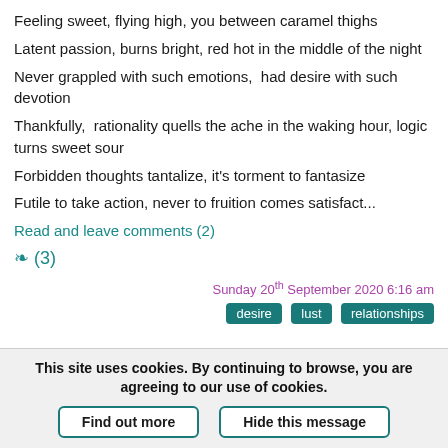Feeling sweet, flying high, you between caramel thighs
Latent passion, burns bright, red hot in the middle of the night
Never grappled with such emotions,  had desire with such devotion
Thankfully,  rationality quells the ache in the waking hour, logic turns sweet sour
Forbidden thoughts tantalize, it's torment to fantasize
Futile to take action, never to fruition comes satisfact...
Read and leave comments (2)
❧ (3)
Sunday 20th September 2020 6:16 am
desire  lust  relationships
This site uses cookies. By continuing to browse, you are agreeing to our use of cookies.
Find out more  Hide this message